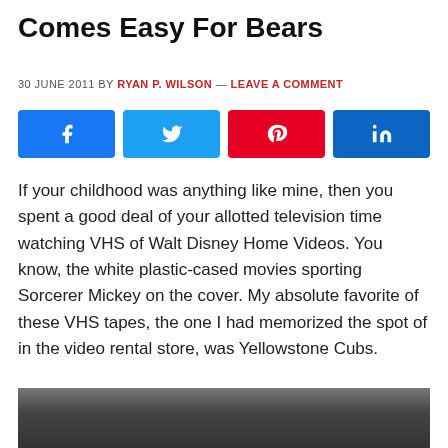Comes Easy For Bears
30 JUNE 2011 BY RYAN P. WILSON — LEAVE A COMMENT
[Figure (infographic): Social share buttons: Facebook (blue), Twitter (light blue), Pinterest (red), LinkedIn (dark blue)]
If your childhood was anything like mine, then you spent a good deal of your allotted television time watching VHS of Walt Disney Home Videos. You know, the white plastic-cased movies sporting Sorcerer Mickey on the cover. My absolute favorite of these VHS tapes, the one I had memorized the spot of in the video rental store, was Yellowstone Cubs.
[Figure (photo): Black and white photo of a forest scene, partially visible at bottom of page]